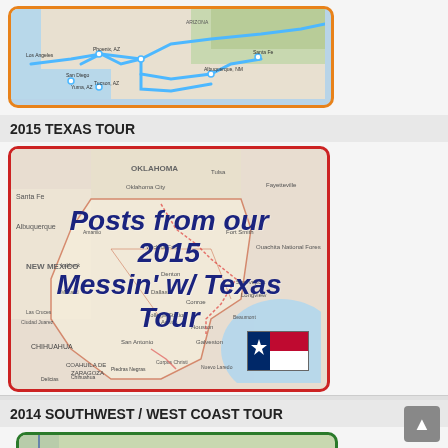[Figure (map): Partial view of a road trip map with orange border showing southwestern US states with a blue route line]
2015 TEXAS TOUR
[Figure (map): Map of Texas and surrounding states with text overlay reading 'Posts from our 2015 Messin' w/ Texas Tour' in bold italic dark blue, Texas flag in corner, red border]
2014 SOUTHWEST / WEST COAST TOUR
[Figure (map): Partial map with green border showing western US states with text 'Posts from our 2014' in green bold italic]